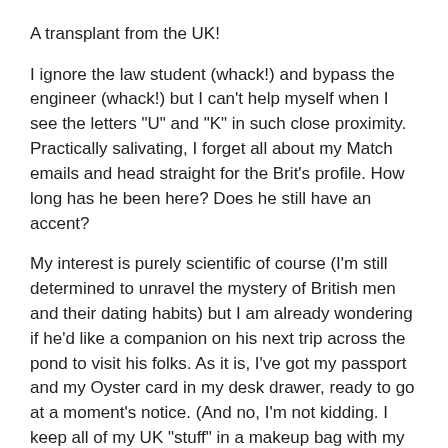A transplant from the UK!
I ignore the law student (whack!) and bypass the engineer (whack!) but I can't help myself when I see the letters "U" and "K" in such close proximity. Practically salivating, I forget all about my Match emails and head straight for the Brit's profile. How long has he been here? Does he still have an accent?
My interest is purely scientific of course (I'm still determined to unravel the mystery of British men and their dating habits) but I am already wondering if he'd like a companion on his next trip across the pond to visit his folks. As it is, I've got my passport and my Oyster card in my desk drawer, ready to go at a moment's notice. (And no, I'm not kidding. I keep all of my UK "stuff" in a makeup bag with my mobile phone, my NHS card and my electrical socket converter). In fact, Mr. Transplant, British Airways is having a sale